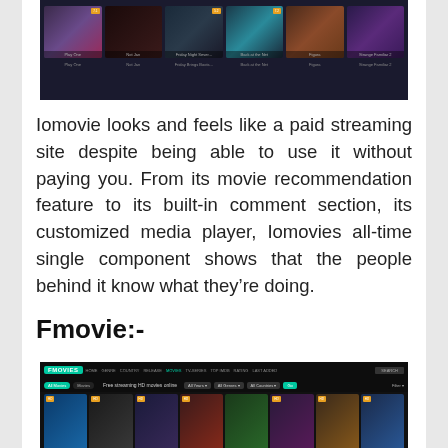[Figure (screenshot): Screenshot of Iomovie website showing movie thumbnails in a dark-themed horizontal row with titles and ratings below]
Iomovie looks and feels like a paid streaming site despite being able to use it without paying you. From its movie recommendation feature to its built-in comment section, its customized media player, Iomovies all-time single component shows that the people behind it know what they're doing.
Fmovie:-
[Figure (screenshot): Screenshot of Fmovies website showing a dark-themed interface with navigation bar, filter options for All Years, All Genres, All Countries, and a row of movie poster thumbnails including Aquaman, Creed II, Black Panther, Avengers Infinity War, and Captain Marvel]